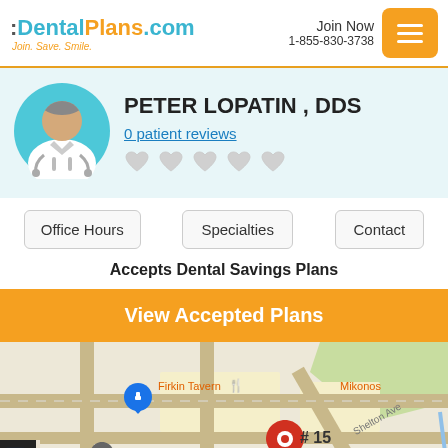DentalPlans.com — Join. Save. Smile. | Join Now 1-855-830-3738
PETER LOPATIN , DDS
0 patient reviews
Accepts Dental Savings Plans
View Accepted Plans
[Figure (map): Google Maps showing location near Firkin Tavern, Mikonos, Shelton Ave, with a red pin marker labeled #15 and IdentoGo nearby]